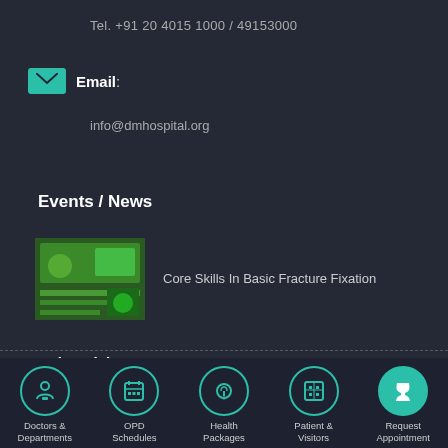Tel. +91 20 4015 1000 / 49153000
Email:
info@dmhospital.org
Events / News
[Figure (photo): Thumbnail image for Core Skills In Basic Fracture Fixation event]
Core Skills In Basic Fracture Fixation
Testimonial
This Surgery Has Been Miracle To Me..
Ashwini Ghornade Nigeria
Doctors & Departments
OPD Schedules
Health Packages
Patient & Visitors
Request Appointment